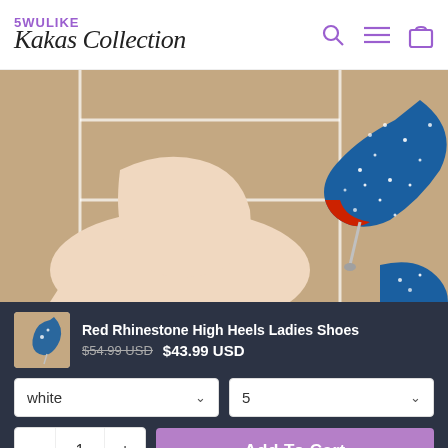5WULIKE Kakas Collection
[Figure (photo): Blue rhinestone high heel shoes modeled on a person's legs against a beige background with white geometric structures]
Red Rhinestone High Heels Ladies Shoes $54.99 USD $43.99 USD
white | 5
- 1 + Add To Cart